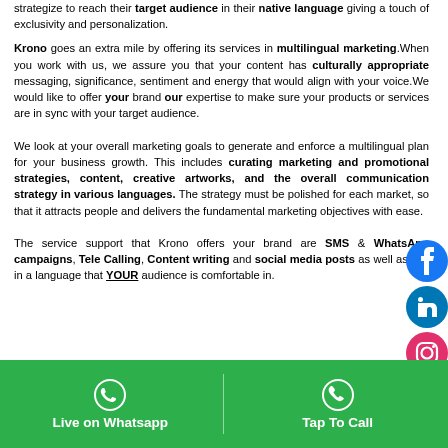strategize to reach their target audience in their native language giving a touch of exclusivity and personalization. Krono goes an extra mile by offering its services in multilingual marketing. When you work with us, we assure you that your content has culturally appropriate messaging, significance, sentiment and energy that would align with your voice. We would like to offer your brand our expertise to make sure your products or services are in sync with your target audience.
We look at your overall marketing goals to generate and enforce a multilingual plan for your business growth. This includes curating marketing and promotional strategies, content, creative artworks, and the overall communication strategy in various languages. The strategy must be polished for each market, so that it attracts people and delivers the fundamental marketing objectives with ease.
The service support that Krono offers your brand are SMS & WhatsApp campaigns, Tele Calling, Content writing and social media posts as well as ads in a language that YOUR audience is comfortable in.
[Figure (logo): Facebook, LinkedIn, and Instagram social media icons on the right side]
Live on Whatsapp | Tap To Call